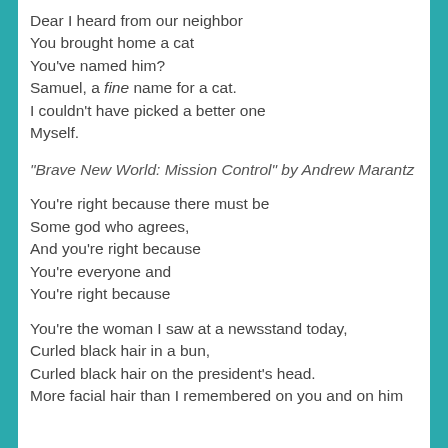Dear I heard from our neighbor
You brought home a cat
You've named him?
Samuel, a fine name for a cat.
I couldn't have picked a better one
Myself.
“Brave New World: Mission Control” by Andrew Marantz
You’re right because there must be
Some god who agrees,
And you’re right because
You’re everyone and
You’re right because
You’re the woman I saw at a newsstand today,
Curled black hair in a bun,
Curled black hair on the president’s head.
More facial hair than I remembered on you and on him